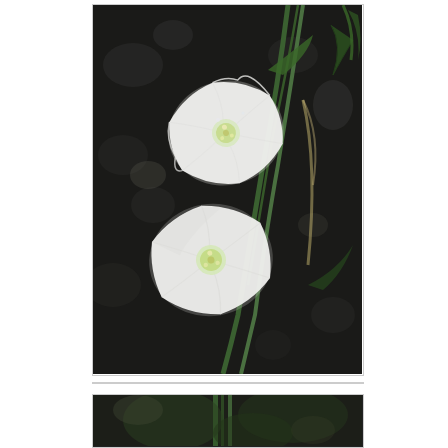[Figure (photo): Close-up photograph of two white funnel-shaped flowers (likely a Convolvulus or similar species) with green stems and leaves against a dark, blurred rocky/soil background. Two white blooms are visible, each with a yellowish-green center, arranged vertically along a green stem.]
[Figure (photo): Partial view of a second photograph showing green stems and blurred foliage against a dark background, cropped at the bottom of the page.]